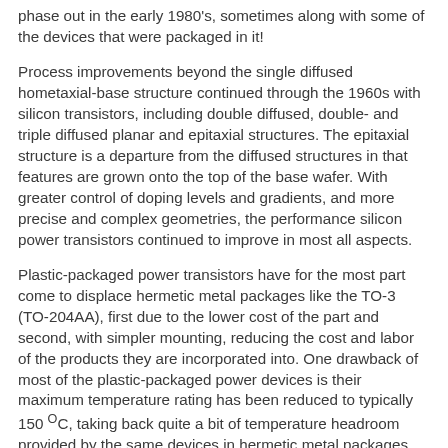phase out in the early 1980's, sometimes along with some of the devices that were packaged in it!
Process improvements beyond the single diffused hometaxial-base structure continued through the 1960s with silicon transistors, including double diffused, double- and triple diffused planar and epitaxial structures. The epitaxial structure is a departure from the diffused structures in that features are grown onto the top of the base wafer. With greater control of doping levels and gradients, and more precise and complex geometries, the performance silicon power transistors continued to improve in most all aspects.
Plastic-packaged power transistors have for the most part come to displace hermetic metal packages like the TO-3 (TO-204AA), first due to the lower cost of the part and second, with simpler mounting, reducing the cost and labor of the products they are incorporated into. One drawback of most of the plastic-packaged power devices is their maximum temperature rating has been reduced to typically 150 °C, taking back quite a bit of temperature headroom provided by the same devices in hermetic metal packages...